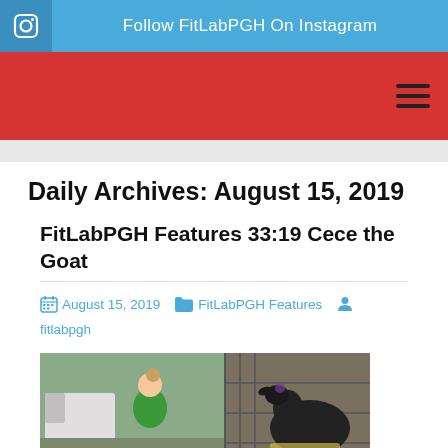Follow FitLabPGH On Instagram
Daily Archives: August 15, 2019
FitLabPGH Features 33:19 Cece the Goat
August 15, 2019  FitLabPGH Features  fitlabpgh
[Figure (photo): Photo of a woman in a green jacket outdoors near a truck, alongside a dark-colored goat behind a fence]